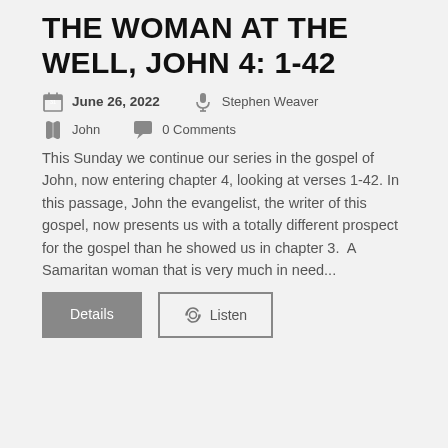THE WOMAN AT THE WELL, JOHN 4: 1-42
June 26, 2022   Stephen Weaver   John   0 Comments
This Sunday we continue our series in the gospel of John, now entering chapter 4, looking at verses 1-42. In this passage, John the evangelist, the writer of this gospel, now presents us with a totally different prospect for the gospel than he showed us in chapter 3.  A Samaritan woman that is very much in need...
Details   Listen